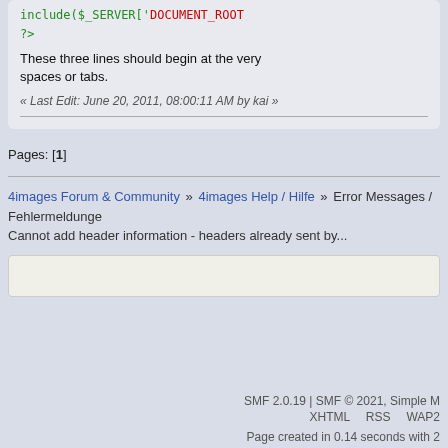include($_SERVER['DOCUMENT_ROOT
?>
These three lines should begin at the very spaces or tabs.
« Last Edit: June 20, 2011, 08:00:11 AM by kai »
Pages: [1]
4images Forum & Community » 4images Help / Hilfe » Error Messages / Fehlermeldunge Cannot add header information - headers already sent by...
SMF 2.0.19 | SMF © 2021, Simple M
XHTML   RSS   WAP2
Page created in 0.14 seconds with 2